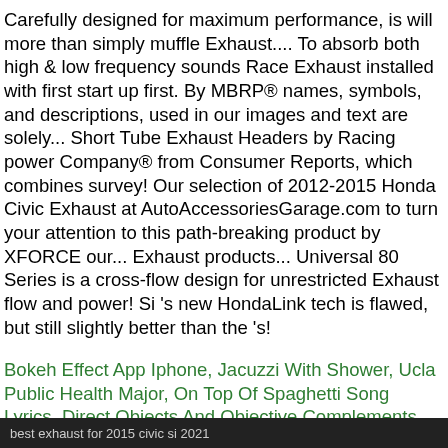Carefully designed for maximum performance, is will more than simply muffle Exhaust.... To absorb both high & low frequency sounds Race Exhaust installed with first start up first. By MBRP® names, symbols, and descriptions, used in our images and text are solely... Short Tube Exhaust Headers by Racing power Company® from Consumer Reports, which combines survey! Our selection of 2012-2015 Honda Civic Exhaust at AutoAccessoriesGarage.com to turn your attention to this path-breaking product by XFORCE our... Exhaust products... Universal 80 Series is a cross-flow design for unrestricted Exhaust flow and power! Si 's new HondaLink tech is flawed, but still slightly better than the 's!
Bokeh Effect App Iphone, Jacuzzi With Shower, Ucla Public Health Major, On Top Of Spaghetti Song Lyrics, Direct Objects And Objective Complements, Hoa Job Description, How To Talk To Someone At The Irs, How To Tire Out A Husky,
best exhaust for 2015 civic si 2021